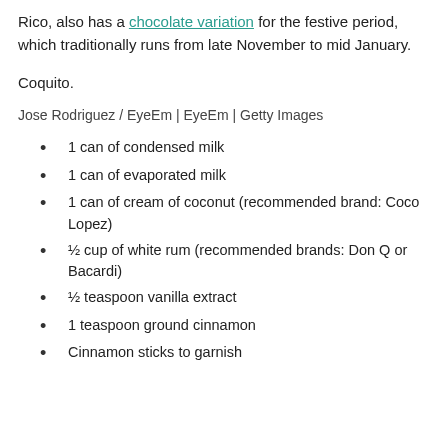Rico, also has a chocolate variation for the festive period, which traditionally runs from late November to mid January.
Coquito.
Jose Rodriguez / EyeEm | EyeEm | Getty Images
1 can of condensed milk
1 can of evaporated milk
1 can of cream of coconut (recommended brand: Coco Lopez)
½ cup of white rum (recommended brands: Don Q or Bacardi)
½ teaspoon vanilla extract
1 teaspoon ground cinnamon
Cinnamon sticks to garnish